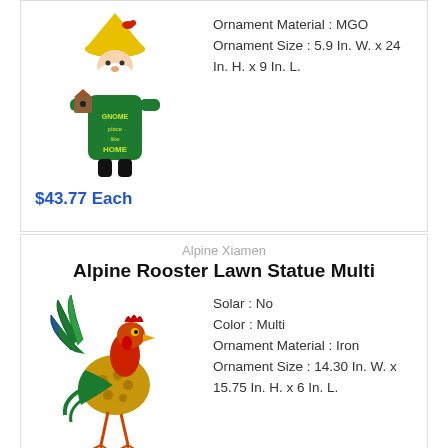[Figure (photo): Garden gnome statue with yellow hat, green body, holding a birdhouse]
Ornament Material : MGO
Ornament Size : 5.9 In. W. x 24 In. H. x 9 In. L.
$43.77 Each
Alpine Xiamen
Alpine Rooster Lawn Statue Multi
[Figure (photo): Colorful metal rooster lawn statue with red, green, and gold colors]
Solar : No
Color : Multi
Ornament Material : Iron
Ornament Size : 14.30 In. W. x 15.75 In. H. x 6 In. L.